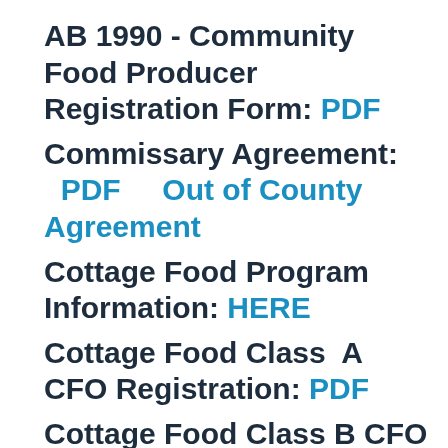AB 1990 - Community Food Producer Registration Form: PDF
Commissary Agreement: PDF    Out of County Agreement
Cottage Food Program Information: HERE
Cottage Food Class  A CFO Registration: PDF
Cottage Food Class B CFO